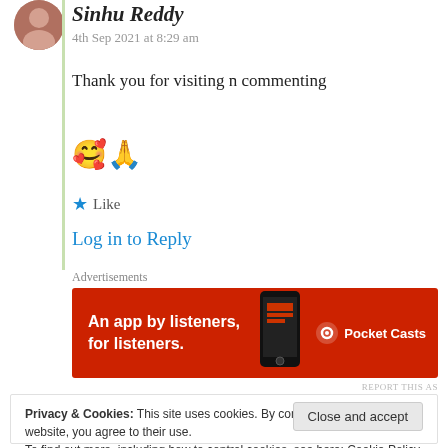Sinhu Reddy
4th Sep 2021 at 8:29 am
Thank you for visiting n commenting 🥰🙏
★ Like
Log in to Reply
Advertisements
[Figure (other): Pocket Casts advertisement banner: red background with text 'An app by listeners, for listeners.' and a smartphone image with Pocket Casts logo]
REPORT THIS AS
Privacy & Cookies: This site uses cookies. By continuing to use this website, you agree to their use. To find out more, including how to control cookies, see here: Cookie Policy
Close and accept